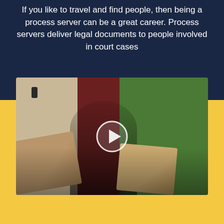If you like to travel and find people, then being a process server can be a great career. Process servers deliver legal documents to people involved in court cases
[Figure (photo): Video thumbnail showing a process server delivering documents at a residential front door. A person in dark clothing is visible at an open dark red door, with beige wall on the left, green foliage on the right, and cardboard boxes in the foreground. A circular play button is overlaid in the center of the video.]